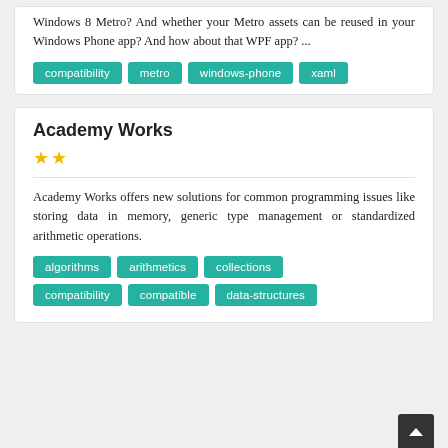Windows 8 Metro? And whether your Metro assets can be reused in your Windows Phone app? And how about that WPF app? ...
compatibility
metro
windows-phone
xaml
Academy Works
★★
Academy Works offers new solutions for common programming issues like storing data in memory, generic type management or standardized arithmetic operations.
algorithms
arithmetics
collections
compatibility
compatible
data-structures